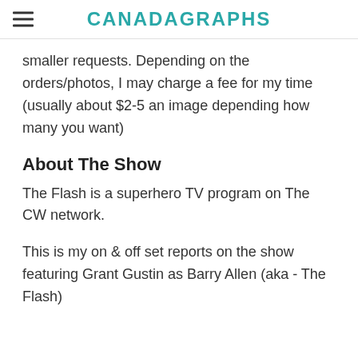CANADAGRAPHS
smaller requests. Depending on the orders/photos, I may charge a fee for my time (usually about $2-5 an image depending how many you want)
About The Show
The Flash is a superhero TV program on The CW network.
This is my on & off set reports on the show featuring Grant Gustin as Barry Allen (aka - The Flash)